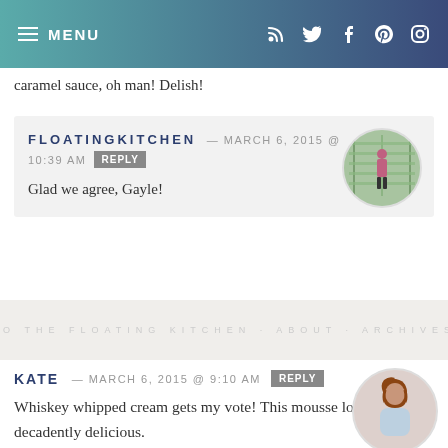MENU
caramel sauce, oh man! Delish!
FLOATINGKITCHEN — MARCH 6, 2015 @ 10:39 AM REPLY
Glad we agree, Gayle!
KATE — MARCH 6, 2015 @ 9:10 AM REPLY
Whiskey whipped cream gets my vote! This mousse looks so decadently delicious.